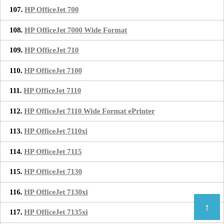107. HP OfficeJet 700
108. HP OfficeJet 7000 Wide Format
109. HP OfficeJet 710
110. HP OfficeJet 7100
111. HP OfficeJet 7110
112. HP OfficeJet 7110 Wide Format ePrinter
113. HP OfficeJet 7110xi
114. HP OfficeJet 7115
115. HP OfficeJet 7130
116. HP OfficeJet 7130xi
117. HP OfficeJet 7135xi
118. HP OfficeJet 7140xi